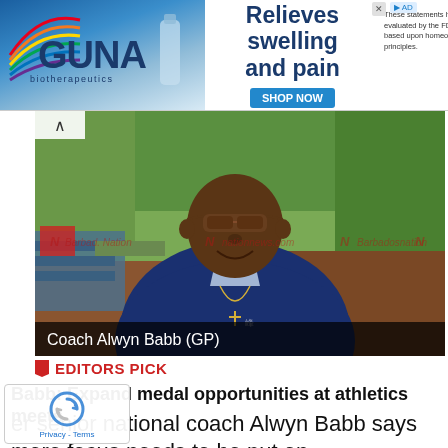[Figure (infographic): GUNA biotherapeutics advertisement banner with logo, text 'Relieves swelling and pain', SHOP NOW button, and FDA disclaimer text]
[Figure (photo): Photo of Coach Alwyn Babb (GP) seated outdoors wearing a blue Peak sport shirt and sunglasses, with nationnews.com watermarks across the image]
Coach Alwyn Babb (GP)
EDITORS PICK
Babb: Expand medal opportunities at athletics meets
er senior national coach Alwyn Babb says more focus needs to be put on